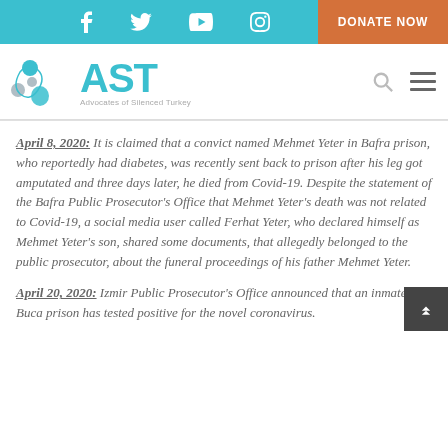Social media icons: f, Twitter, YouTube, Instagram | DONATE NOW
[Figure (logo): AST - Advocates of Silenced Turkey logo with circular icon and teal text, plus search and hamburger menu icons on the right]
April 8, 2020: It is claimed that a convict named Mehmet Yeter in Bafra prison, who reportedly had diabetes, was recently sent back to prison after his leg got amputated and three days later, he died from Covid-19. Despite the statement of the Bafra Public Prosecutor's Office that Mehmet Yeter's death was not related to Covid-19, a social media user called Ferhat Yeter, who declared himself as Mehmet Yeter's son, shared some documents, that allegedly belonged to the public prosecutor, about the funeral proceedings of his father Mehmet Yeter.
April 20, 2020: Izmir Public Prosecutor's Office announced that an inmate in Buca prison has tested positive for the novel coronavirus.